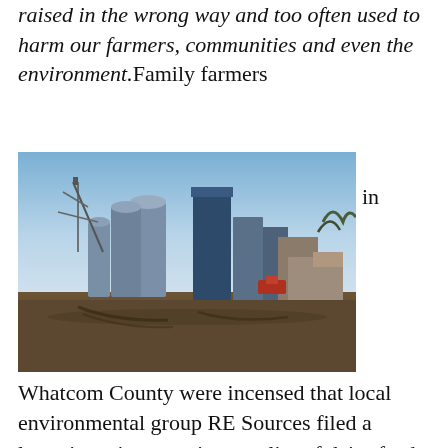raised in the wrong way and too often used to harm our farmers, communities and even the environment. Family farmers in
[Figure (photo): Photograph of a large grain elevator and farm supply facility with tall metal silos and industrial structures against a blue sky, with a dirt lot in the foreground.]
Whatcom County were incensed that local environmental group RE Sources filed a lawsuit against a major supplier of dairy feed. This followed attacks by the activist group against dairy farmers including publicly promoting false accusations and